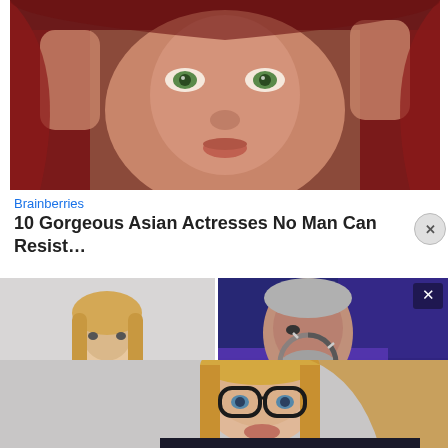[Figure (photo): Close-up photo of a young woman with green eyes wearing a red hood, hands raised to her face]
Brainberries
10 Gorgeous Asian Actresses No Man Can Resist…
[Figure (photo): Bottom left: partial photo of a blonde woman on light grey background]
[Figure (photo): Overlay: video thumbnail with an older man with grey beard against blue/purple background with loading spinner and X close button]
[Figure (photo): Bottom: photo of a blonde woman wearing black glasses looking at camera]